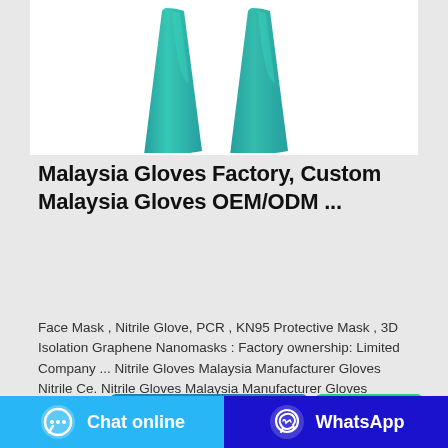[Figure (photo): Two teal/turquoise colored conical or cylindrical glove molds/forms side by side on white background]
Malaysia Gloves Factory, Custom Malaysia Gloves OEM/ODM ...
Face Mask , Nitrile Glove, PCR , KN95 Protective Mask , 3D Isolation Graphene Nanomasks : Factory ownership: Limited Company ... Nitrile Gloves Malaysia Manufacturer Gloves Nitrile Ce. Nitrile Gloves Malaysia Manufacturer Gloves Nitrile Ce. Unit Price: US $ 0.03-0.12 / Piece
Contact the manufacturer
WhatsApp
Chat online | WhatsApp